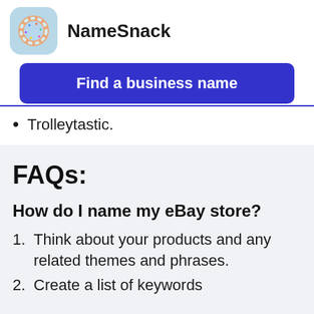[Figure (logo): NameSnack app logo — donut icon in a light blue rounded rectangle]
NameSnack
Find a business name
Trolleytastic.
FAQs:
How do I name my eBay store?
Think about your products and any related themes and phrases.
Create a list of keywords